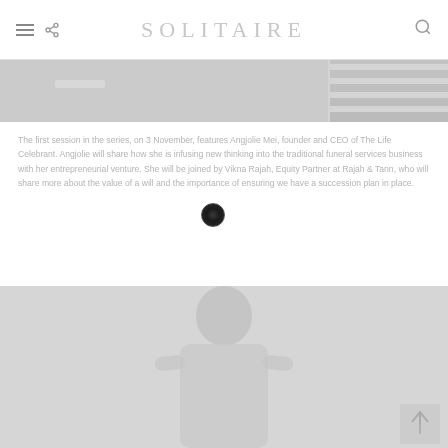SOLITAIRE
[Figure (photo): Top portion of a staircase or architectural photo in grayscale]
The first session in the series, on 3 November, features Angjolie Mei, founder and CEO of The Life Celebrant. Angjolie will share how she is infusing new thinking into the traditional funeral services business with her entrepreneurial venture. She will be joined by Vikna Rajah, Equity Partner at Rajah & Tann, who will share more about the value of a will and the importance of ensuring we have a succession plan in place.
[Figure (photo): Portrait photo of a person (appears to be Angjolie Mei) in grayscale]